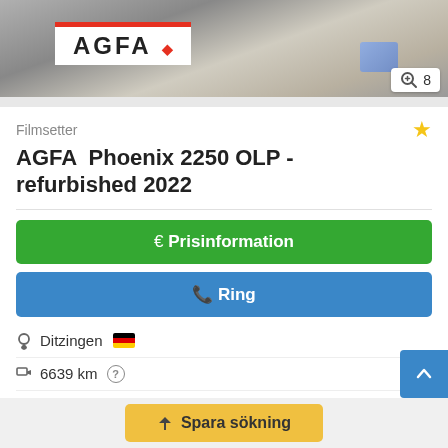[Figure (photo): Photo of AGFA branded box/packaging with red stripe and logo, partially visible at top of page]
Filmsetter
AGFA  Phoenix 2250 OLP - refurbished 2022
€ Prisinformation
✆ Ring
Ditzingen 🇩🇪
6639 km ?
2000
i allmänhet renoverade (begagnade)
✈ Spara sökning